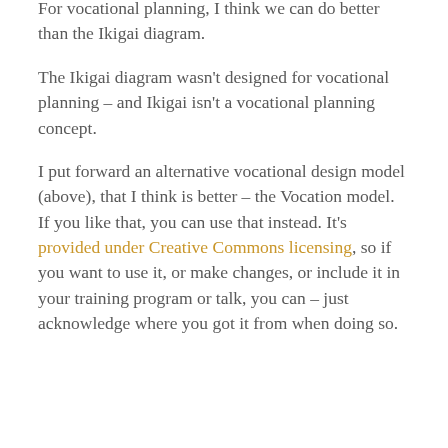For vocational planning, I think we can do better than the Ikigai diagram.
The Ikigai diagram wasn't designed for vocational planning – and Ikigai isn't a vocational planning concept.
I put forward an alternative vocational design model (above), that I think is better – the Vocation model. If you like that, you can use that instead. It's provided under Creative Commons licensing, so if you want to use it, or make changes, or include it in your training program or talk, you can – just acknowledge where you got it from when doing so.